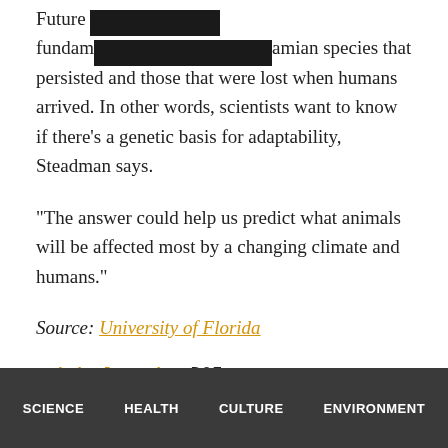Future [redacted] fundamentally [redacted]amian species that persisted and those that were lost when humans arrived. In other words, scientists want to know if there's a genetic basis for adaptability, Steadman says.
“The answer could help us predict what animals will be affected most by a changing climate and humans.”
Source: University of Florida
Original Study   DOI: 10.1073/pnas.1516490112
SCIENCE   HEALTH   CULTURE   ENVIRONMENT